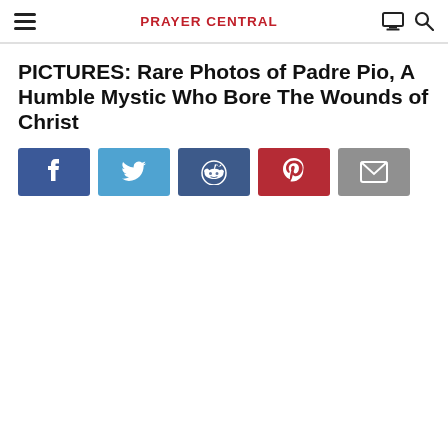PRAYER CENTRAL
PICTURES: Rare Photos of Padre Pio, A Humble Mystic Who Bore The Wounds of Christ
[Figure (infographic): Social share buttons row: Facebook, Twitter, Reddit, Pinterest, Email]